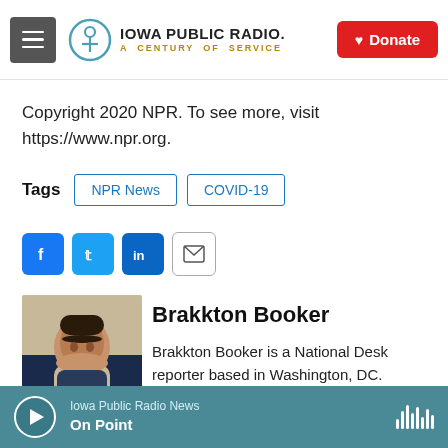Iowa Public Radio. A Century of Service. Donate.
Copyright 2020 NPR. To see more, visit https://www.npr.org.
Tags  NPR News  COVID-19
[Figure (other): Social sharing icons: Facebook, Twitter, LinkedIn, Email]
[Figure (photo): Author photo of Brakkton Booker, a man in a suit smiling]
Brakkton Booker
Brakkton Booker is a National Desk reporter based in Washington, DC.
Iowa Public Radio News — On Point (audio player bar)